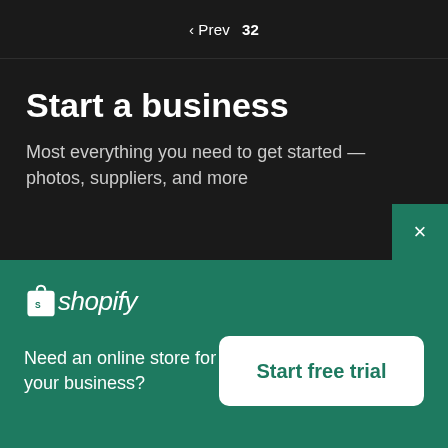‹ Prev  32
Start a business
Most everything you need to get started — photos, suppliers, and more
[Figure (logo): Shopify logo with bag icon and italic wordmark 'shopify']
Need an online store for your business?
Start free trial